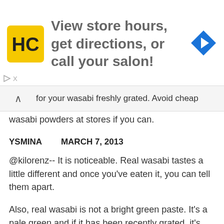[Figure (advertisement): HC salon ad banner with yellow logo, text 'View store hours, get directions, or call your salon!' and blue direction arrow icon]
for your wasabi freshly grated. Avoid cheap wasabi powders at stores if you can.
YSMINA    MARCH 7, 2013
@kilorenz-- It is noticeable. Real wasabi tastes a little different and once you've eaten it, you can tell them apart.
Also, real wasabi is not a bright green paste. It's a pale green and if it has been recently grated, it's apparent.